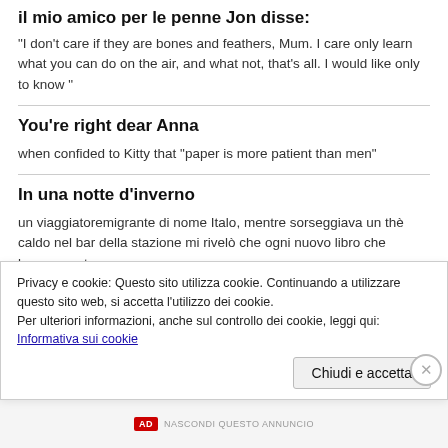il mio amico per le penne Jon disse:
"I don't care if they are bones and feathers, Mum. I care only learn what you can do on the air, and what not, that's all. I would like only to know "
You're right dear Anna
when confided to Kitty that "paper is more patient than men"
In una notte d'inverno
un viaggiatoremigrante di nome Italo, mentre sorseggiava un thè caldo nel bar della stazione mi rivelò che ogni nuovo libro che leggeva entrava
Privacy e cookie: Questo sito utilizza cookie. Continuando a utilizzare questo sito web, si accetta l'utilizzo dei cookie.
Per ulteriori informazioni, anche sul controllo dei cookie, leggi qui:
Informativa sui cookie
Chiudi e accetta